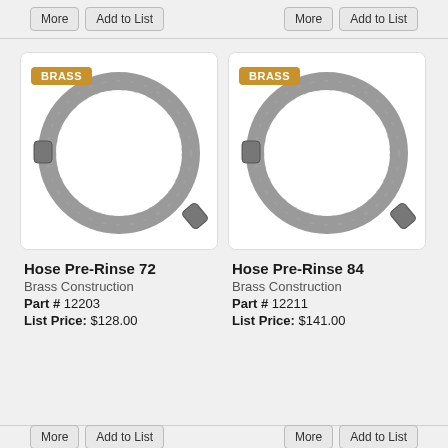[Figure (photo): Two buttons labeled More and Add to List on the left, two buttons labeled More and Add to List on the right, at the top of the page]
[Figure (photo): Coiled stainless steel pre-rinse hose with brass badge label, product image for Hose Pre-Rinse 72]
Hose Pre-Rinse 72
Brass Construction
Part # 12203
List Price: $128.00
[Figure (photo): Coiled stainless steel pre-rinse hose with brass badge label, product image for Hose Pre-Rinse 84]
Hose Pre-Rinse 84
Brass Construction
Part # 12211
List Price: $141.00